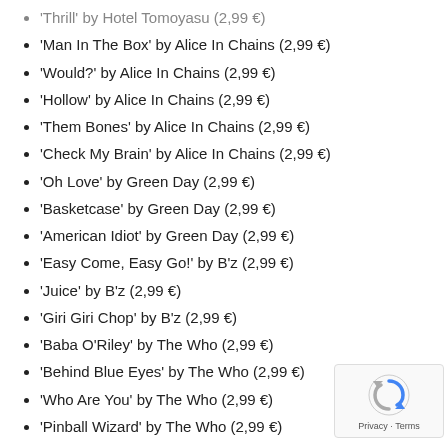'Thrill' by Hotel Tomoyasu (2,99 €)
'Man In The Box' by Alice In Chains (2,99 €)
'Would?' by Alice In Chains (2,99 €)
'Hollow' by Alice In Chains (2,99 €)
'Them Bones' by Alice In Chains (2,99 €)
'Check My Brain' by Alice In Chains (2,99 €)
'Oh Love' by Green Day (2,99 €)
'Basketcase' by Green Day (2,99 €)
'American Idiot' by Green Day (2,99 €)
'Easy Come, Easy Go!' by B'z (2,99 €)
'Juice' by B'z (2,99 €)
'Giri Giri Chop' by B'z (2,99 €)
'Baba O'Riley' by The Who (2,99 €)
'Behind Blue Eyes' by The Who (2,99 €)
'Who Are You' by The Who (2,99 €)
'Pinball Wizard' by The Who (2,99 €)
'The Seeker' by The Who (2,99 €)
'Creep' by Radiohead (2,99 €)
'Just' by Radiohead (2,99 €)